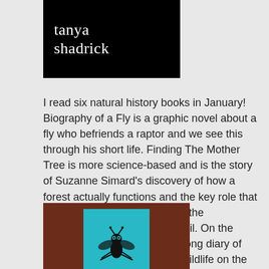[Figure (logo): Black background with white serif text reading 'tanya shadrick' in two lines]
I read six natural history books in January! Biography of a Fly is a graphic novel about a fly who befriends a raptor and we see this through his short life. Finding The Mother Tree is more science-based and is the story of Suzanne Simard's discovery of how a forest actually functions and the key role that each plant plays, in particular, the mycological networks in the soil. On the Marsh is Simon Barnes year-long diary of the time spent looking at the wildlife on the small patch of march he is fortunate to own in Norfolk
[Figure (illustration): Book cover with dark brown/reddish background containing a teal/blue square with a black silhouette of a fly illustration]